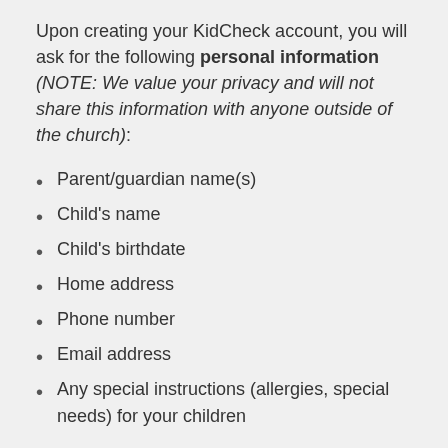Upon creating your KidCheck account, you will ask for the following personal information (NOTE: We value your privacy and will not share this information with anyone outside of the church):
Parent/guardian name(s)
Child's name
Child's birthdate
Home address
Phone number
Email address
Any special instructions (allergies, special needs) for your children